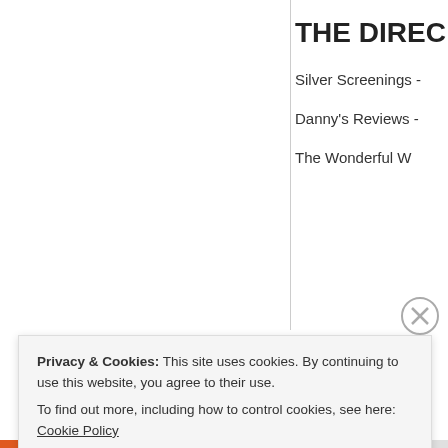THE DIREC
Silver Screenings -
Danny's Reviews -
The Wonderful W
Privacy & Cookies: This site uses cookies. By continuing to use this website, you agree to their use.
To find out more, including how to control cookies, see here: Cookie Policy
Close and accept